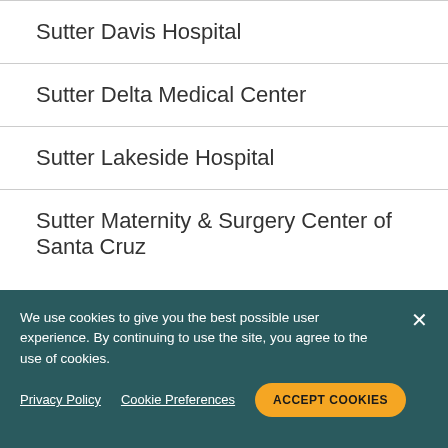Sutter Davis Hospital
Sutter Delta Medical Center
Sutter Lakeside Hospital
Sutter Maternity & Surgery Center of Santa Cruz
We use cookies to give you the best possible user experience. By continuing to use the site, you agree to the use of cookies.
Privacy Policy   Cookie Preferences   ACCEPT COOKIES